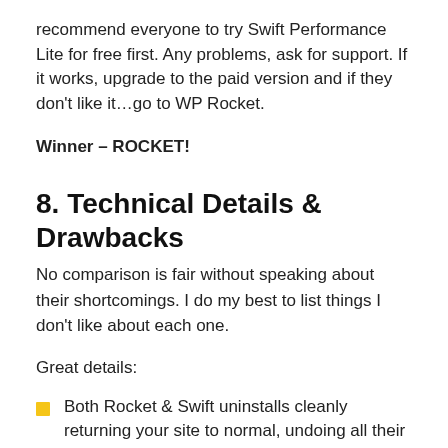recommend everyone to try Swift Performance Lite for free first. Any problems, ask for support. If it works, upgrade to the paid version and if they don't like it…go to WP Rocket.
Winner – ROCKET!
8. Technical Details & Drawbacks
No comparison is fair without speaking about their shortcomings. I do my best to list things I don't like about each one.
Great details:
Both Rocket & Swift uninstalls cleanly returning your site to normal, undoing all their htaccess/wp-config edits and removing their cache files/settings.
Swift has incredible warm-up table – essential for figuring out why caching doesn't work. Many cache